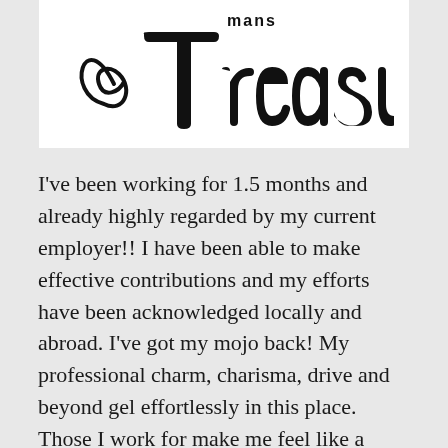[Figure (logo): Decorative script logo reading 'mans Treasure' in stylized black handwritten font on white background]
I've been working for 1.5 months and already highly regarded by my current employer!! I have been able to make effective contributions and my efforts have been acknowledged locally and abroad. I've got my mojo back! My professional charm, charisma, drive and beyond gel effortlessly in this place. Those I work for make me feel like a discovered treasure!
Have you ever been in an environment, job, relationship, church or organization where others belittle or neglect? A newcomer...